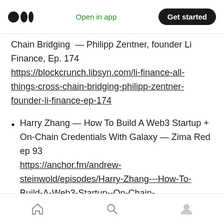Open in app | Get started
Chain Bridging — Philipp Zentner, founder Li Finance, Ep. 174 https://blockcrunch.libsyn.com/li-finance-all-things-cross-chain-bridging-philipp-zentner-founder-li-finance-ep-174
Harry Zhang — How To Build A Web3 Startup + On-Chain Credentials With Galaxy — Zima Red ep 93 https://anchor.fm/andrew-steinwold/episodes/Harry-Zhang---How-To-Build-A-Web3-Startup--On-Chain-Credentials-With-Galaxy---Zima-Red-ep-93-
Home | Search | Profile